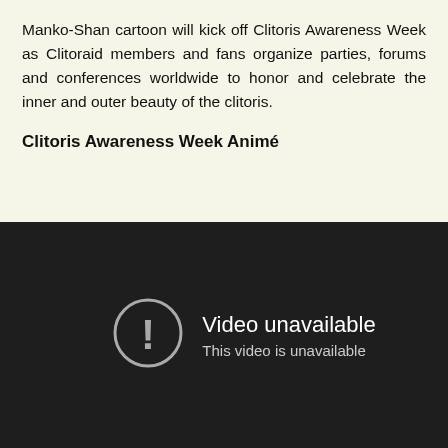Manko-Shan cartoon will kick off Clitoris Awareness Week as Clitoraid members and fans organize parties, forums and conferences worldwide to honor and celebrate the inner and outer beauty of the clitoris.
Clitoris Awareness Week Animé
[Figure (screenshot): Embedded video player showing 'Video unavailable' message with exclamation mark icon and text 'This video is unavailable' on dark background]